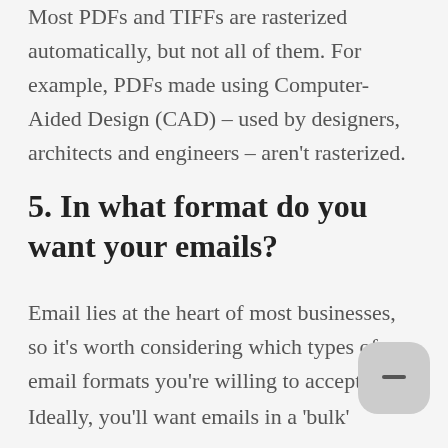Most PDFs and TIFFs are rasterized automatically, but not all of them. For example, PDFs made using Computer-Aided Design (CAD) – used by designers, architects and engineers – aren't rasterized.
5. In what format do you want your emails?
Email lies at the heart of most businesses, so it's worth considering which types of email formats you're willing to accept.
Ideally, you'll want emails in a 'bulk'